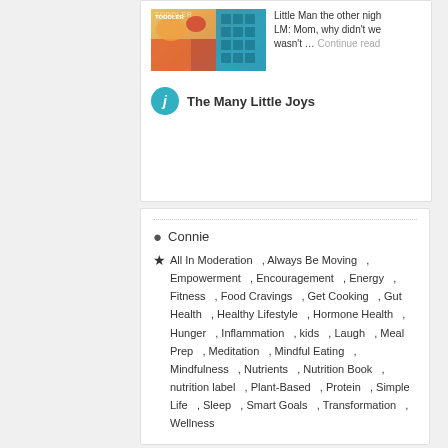[Figure (photo): Food image with colorful items, appears to be a toddler meal prep book cover]
Little Man the other nigh LM: Mom, why didn't we wasn't … Continue read
The Many Little Joys
Connie
All In Moderation , Always Be Moving , Empowerment , Encouragement , Energy , Fitness , Food Cravings , Get Cooking , Gut Health , Healthy Lifestyle , Hormone Health , Hunger , Inflammation , kids , Laugh , Meal Prep , Meditation , Mindful Eating , Mindfulness , Nutrients , Nutrition Book , nutrition label , Plant-Based , Protein , Simple Life , Sleep , Smart Goals , Transformation , Wellness